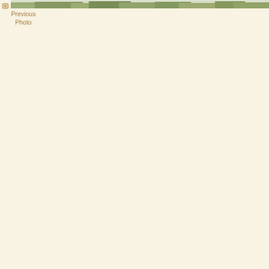[Figure (photo): Partial view of a blurred outdoor photo showing green foliage/plants at the top of the page, cropped to a thin horizontal strip]
Previous Photo